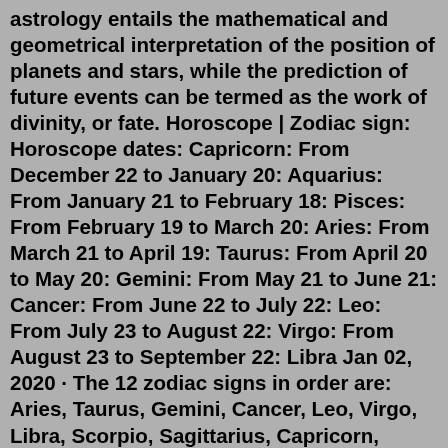astrology entails the mathematical and geometrical interpretation of the position of planets and stars, while the prediction of future events can be termed as the work of divinity, or fate. Horoscope | Zodiac sign: Horoscope dates: Capricorn: From December 22 to January 20: Aquarius: From January 21 to February 18: Pisces: From February 19 to March 20: Aries: From March 21 to April 19: Taurus: From April 20 to May 20: Gemini: From May 21 to June 21: Cancer: From June 22 to July 22: Leo: From July 23 to August 22: Virgo: From August 23 to September 22: Libra Jan 02, 2020 · The 12 zodiac signs in order are: Aries, Taurus, Gemini, Cancer, Leo, Virgo, Libra, Scorpio, Sagittarius, Capricorn, Aquarius and Pisces. Each zodiac sign has a symbol dating back to Greek manuscripts from the Middle Ages. Bold, pioneering and courageous, Aries is the leader of the zodiac. They are daring and adventurous and are unafraid to strike out into unknown territory where others would be unable to go. An...Jan 02, 2020 · The 12 zodiac signs in order are: Aries, Taurus, Gemini, Cancer,